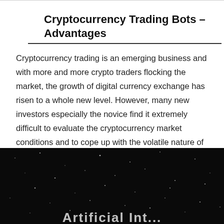Cryptocurrency Trading Bots – Advantages
Cryptocurrency trading is an emerging business and with more and more crypto traders flocking the market, the growth of digital currency exchange has risen to a whole new level. However, many new investors especially the novice find it extremely difficult to evaluate the cryptocurrency market conditions and to cope up with the volatile nature of [...]
by Helencey   August 9, 2021
[Figure (photo): Dark background with scattered white light particles/stars, with partially visible bold white text at the bottom edge]